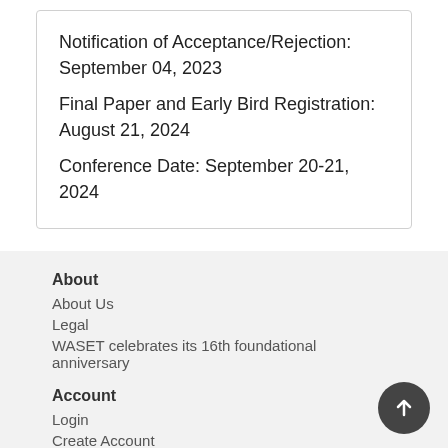Notification of Acceptance/Rejection: September 04, 2023
Final Paper and Early Bird Registration: August 21, 2024
Conference Date: September 20-21, 2024
About
About Us
Legal
WASET celebrates its 16th foundational anniversary
Account
Login
Create Account
Explore
Committees
Conferences